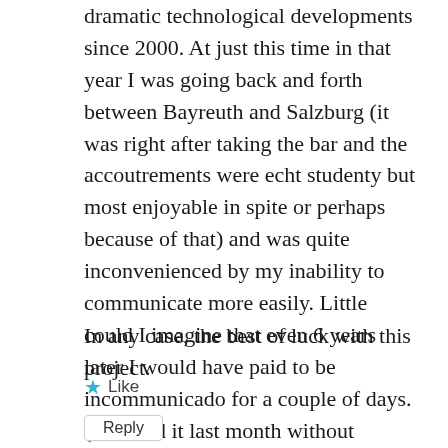dramatic technological developments since 2000. At just this time in that year I was going back and forth between Bayreuth and Salzburg (it was right after taking the bar and the accoutrements were echt studenty but most enjoyable in spite or perhaps because of that) and was quite inconvenienced by my inability to communicate more easily. Little could I imagine that even 6 years later I would have paid to be incommunicado for a couple of days. (We tried it last month without success).
In any case, the best of luck with this project.
★ Like
Reply